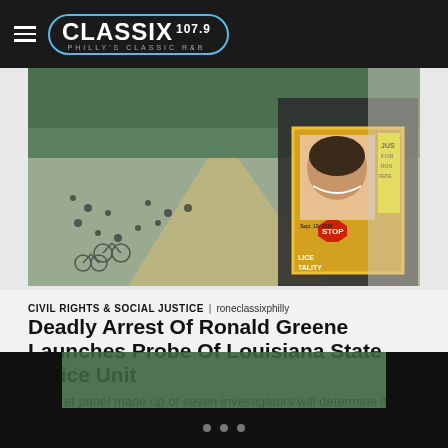CLASSIX 107.9 — PHILLY'S CLASSIC R&B
[Figure (photo): Protest or march scene with crowd of people, some on bicycles, on a wide path. In the foreground a person holds a sign with a photo of Ronald Greene and text reading 'JUST FOR RON RENE / Sept. 10, 2019 / STOP / LICE TALITY'.]
CIVIL RIGHTS & SOCIAL JUSTICE | roneclassixphilly
Deadly Arrest Of Ronald Greene Launches Probe Of Louisiana State Police Unit
A secret panel made up of seven investigators will determine if officers are targeting Black motorists in the state.
[Figure (photo): Partial bottom strip of a second photo showing green trees/foliage, cropped at page bottom.]